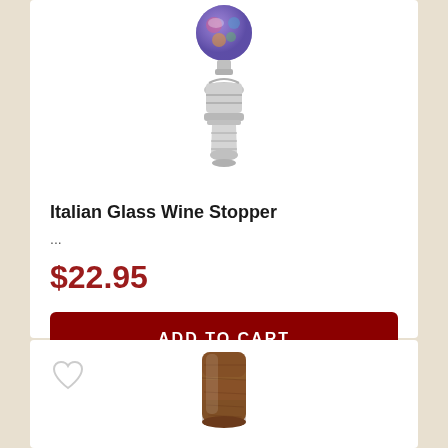[Figure (photo): Italian glass wine stopper with colorful decorative glass ball on top and silver metal base]
Italian Glass Wine Stopper
...
$22.95
ADD TO CART
[Figure (photo): Second product - appears to be a wooden or decorative wine stopper, partially visible at bottom of page]